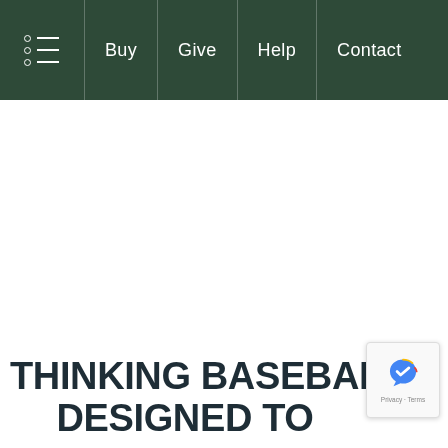Buy | Give | Help | Contact
THINKING BASEBALL® DESIGNED TO